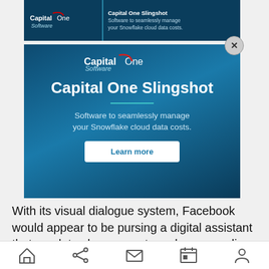[Figure (screenshot): Capital One Software Slingshot banner advertisement - top strip with logo and text]
[Figure (screenshot): Capital One Software Slingshot main advertisement with logo, title, tagline, and Learn more button on dark blue gradient background]
With its visual dialogue system, Facebook would appear to be pursing a digital assistant that emulates human partners by responding to
[Figure (screenshot): Mobile browser bottom navigation bar with home, share, email, calendar, and profile icons]